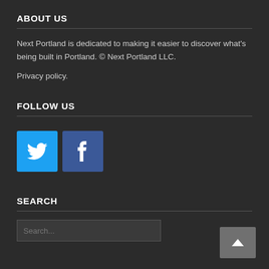ABOUT US
Next Portland is dedicated to making it easier to discover what's being built in Portland. © Next Portland LLC.
Privacy policy.
FOLLOW US
[Figure (illustration): Twitter and Facebook social media icon buttons in blue squares]
SEARCH
Search...